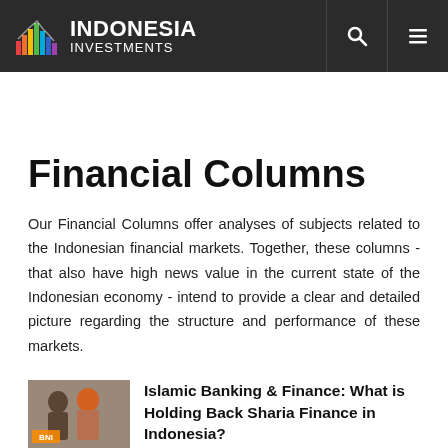INDONESIA INVESTMENTS
Financial Columns
Our Financial Columns offer analyses of subjects related to the Indonesian financial markets. Together, these columns - that also have high news value in the current state of the Indonesian economy - intend to provide a clear and detailed picture regarding the structure and performance of these markets.
[Figure (photo): Thumbnail photo of two women, one wearing an orange hijab, associated with BNI Islamic banking article]
Islamic Banking & Finance: What is Holding Back Sharia Finance in Indonesia?